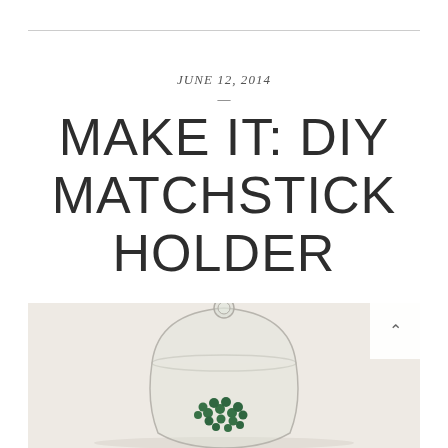JUNE 12, 2014
MAKE IT: DIY MATCHSTICK HOLDER
[Figure (photo): A glass cloche/bell jar containing green matchstick heads, photographed against a light beige background]